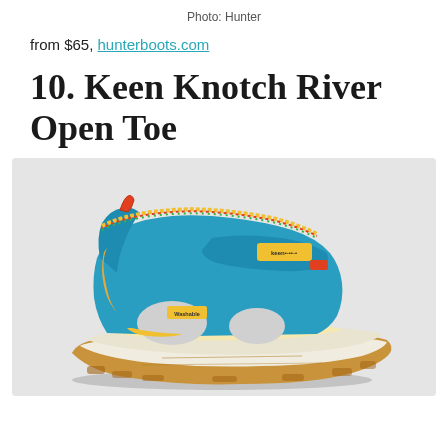Photo: Hunter
from $65, hunterboots.com
10. Keen Knotch River Open Toe
[Figure (photo): A colorful children's sandal — Keen Knotch River Open Toe — shown in profile view on a light gray background. The sandal features a bright blue upper with multicolor tie-dye trim accents in yellow, red, green, and blue. It has a velcro strap across the top, open toe design, a white midsole, and a tan/gum rubber outsole.]